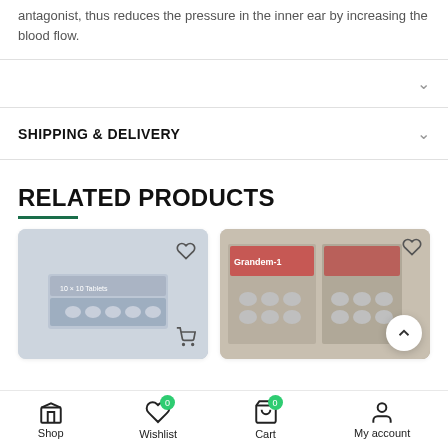antagonist, thus reduces the pressure in the inner ear by increasing the blood flow.
SHIPPING & DELIVERY
RELATED PRODUCTS
[Figure (photo): Product card 1: medication blister pack in blue-grey packaging]
[Figure (photo): Product card 2: Grandem-1 medication blister packs with red label]
Shop  Wishlist 0  Cart 0  My account